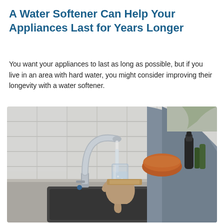A Water Softener Can Help Your Appliances Last for Years Longer
You want your appliances to last as long as possible, but if you live in an area with hard water, you might consider improving their longevity with a water softener.
[Figure (photo): A person in a grey sweater filling a glass of water from a chrome kitchen faucet at a dark sink. White subway tile backsplash, an orange bowl, and kitchen items visible in the background.]